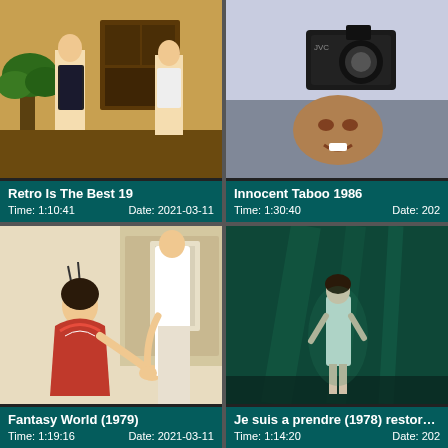[Figure (photo): Still from 'Retro Is The Best 19' - indoor scene with two people in a room with furniture and plants]
Retro Is The Best 19
Time: 1:10:41    Date: 2021-03-11
[Figure (photo): Still from 'Innocent Taboo 1986' - close-up of person with camera]
Innocent Taboo 1986
Time: 1:30:40    Date: 202
[Figure (photo): Still from 'Fantasy World (1979)' - woman in red kimono and person in white]
Fantasy World (1979)
Time: 1:19:16    Date: 2021-03-11
[Figure (photo): Still from 'Je suis a prendre (1978) restored' - figure in underwater/dark greenish scene]
Je suis a prendre (1978) restored,
Time: 1:14:20    Date: 202
[Figure (photo): Partial thumbnail of another video (bottom left, cut off)]
[Figure (photo): Partial thumbnail of another video (bottom right, cut off)]